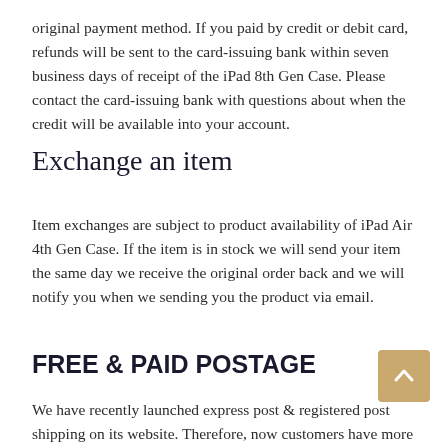original payment method. If you paid by credit or debit card, refunds will be sent to the card-issuing bank within seven business days of receipt of the iPad 8th Gen Case. Please contact the card-issuing bank with questions about when the credit will be available into your account.
Exchange an item
Item exchanges are subject to product availability of iPad Air 4th Gen Case. If the item is in stock we will send your item the same day we receive the original order back and we will notify you when we sending you the product via email.
FREE & PAID POSTAGE
We have recently launched express post & registered post shipping on its website. Therefore, now customers have more